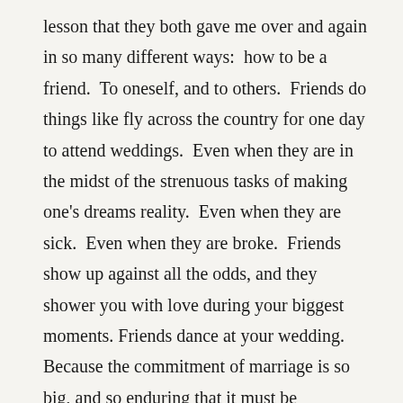lesson that they both gave me over and again in so many different ways: how to be a friend. To oneself, and to others. Friends do things like fly across the country for one day to attend weddings. Even when they are in the midst of the strenuous tasks of making one's dreams reality. Even when they are sick. Even when they are broke. Friends show up against all the odds, and they shower you with love during your biggest moments. Friends dance at your wedding. Because the commitment of marriage is so big, and so enduring that it must be celebrated with the biggest expression of love and joy that each person present can muster. And dancing is the best full-bodied way of demonstrating that love. (And yes, we danced the hasapico to Zorba's theme. There was a lady in our midst who most surely